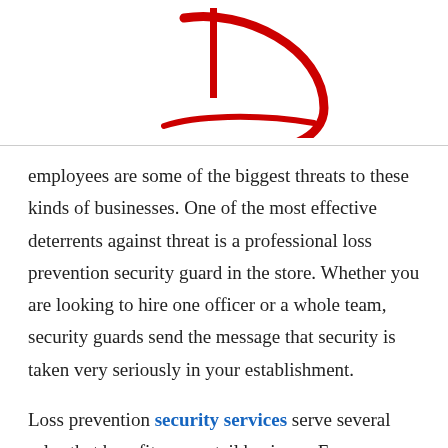[Figure (logo): Partial red logo with vertical bar and curved sweep line on white background]
employees are some of the biggest threats to these kinds of businesses. One of the most effective deterrents against threat is a professional loss prevention security guard in the store. Whether you are looking to hire one officer or a whole team, security guards send the message that security is taken very seriously in your establishment.
Loss prevention security services serve several roles that benefit your retail business. From detecting potential shoplifters to preventing thieves from leaving the store with the merchandise, security guards that have a specialized skill in loss prevention can be your most valuable asset in keeping your retail business safe and